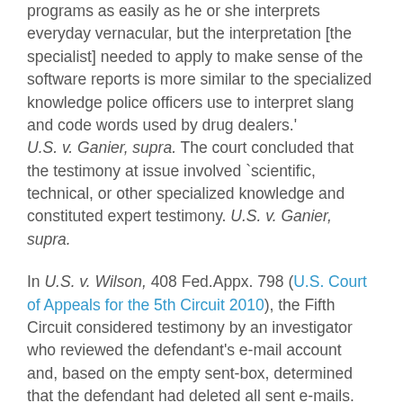programs as easily as he or she interprets everyday vernacular, but the interpretation [the specialist] needed to apply to make sense of the software reports is more similar to the specialized knowledge police officers use to interpret slang and code words used by drug dealers.' U.S. v. Ganier, supra. The court concluded that the testimony at issue involved `scientific, technical, or other specialized knowledge and constituted expert testimony. U.S. v. Ganier, supra.
In U.S. v. Wilson, 408 Fed.Appx. 798 (U.S. Court of Appeals for the 5th Circuit 2010), the Fifth Circuit considered testimony by an investigator who reviewed the defendant's e-mail account and, based on the empty sent-box, determined that the defendant had deleted all sent e-mails. U.S. v. Wilson, supra. The investigator did not use forensic software, and his computer experience was limited to